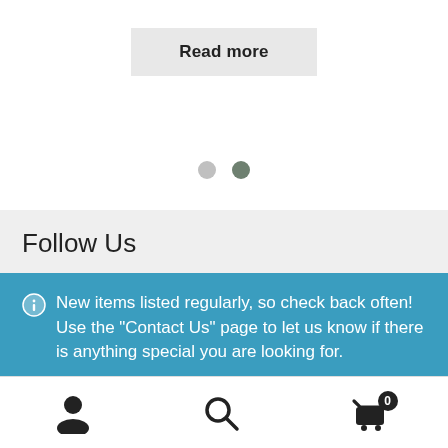[Figure (screenshot): Read more button — light gray rectangular button with bold text 'Read more']
[Figure (other): Two circular pagination dots — one light gray, one dark gray/green]
Follow Us
New items listed regularly, so check back often! Use the "Contact Us" page to let us know if there is anything special you are looking for.
Dismiss
Footer navigation icons: user account, search, shopping cart (0 items)